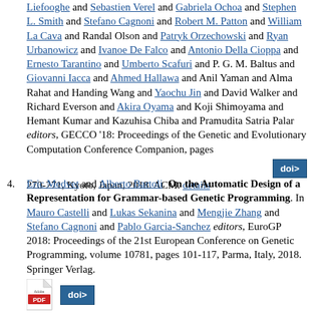Liefooghe and Sebastien Verel and Gabriela Ochoa and Stephen L. Smith and Stefano Cagnoni and Robert M. Patton and William La Cava and Randal Olson and Patryk Orzechowski and Ryan Urbanowicz and Ivanoe De Falco and Antonio Della Cioppa and Ernesto Tarantino and Umberto Scafuri and P. G. M. Baltus and Giovanni Iacca and Ahmed Hallawa and Anil Yaman and Alma Rahat and Handing Wang and Yaochu Jin and David Walker and Richard Everson and Akira Oyama and Koji Shimoyama and Hemant Kumar and Kazuhisa Chiba and Pramudita Satria Palar editors, GECCO '18: Proceedings of the Genetic and Evolutionary Computation Conference Companion, pages 270-271, Kyoto, Japan, 2018. ACM.
Eric Medvet and Alberto Bartoli. On the Automatic Design of a Representation for Grammar-based Genetic Programming. In Mauro Castelli and Lukas Sekanina and Mengjie Zhang and Stefano Cagnoni and Pablo Garcia-Sanchez editors, EuroGP 2018: Proceedings of the 21st European Conference on Genetic Programming, volume 10781, pages 101-117, Parma, Italy, 2018. Springer Verlag.